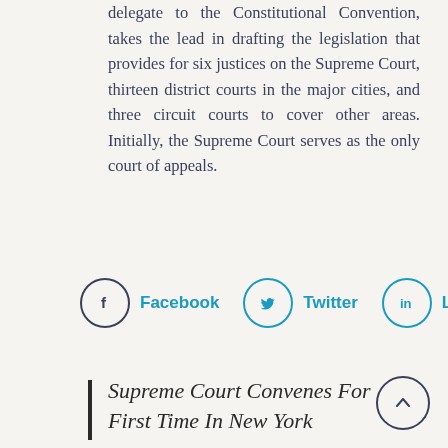delegate to the Constitutional Convention, takes the lead in drafting the legislation that provides for six justices on the Supreme Court, thirteen district courts in the major cities, and three circuit courts to cover other areas. Initially, the Supreme Court serves as the only court of appeals.
[Figure (infographic): Social sharing buttons for Facebook, Twitter, and LinkedIn]
Supreme Court Convenes For First Time In New York
Three of the newly appointed U.S. Supreme Court justices convene in New York, the temporary capital, for the first time. The Judiciary Act requires the justices to sit twice a year, but as the justices begin their first term, there is little for them to do. According to the Supreme Court Historical Society, before long, the...